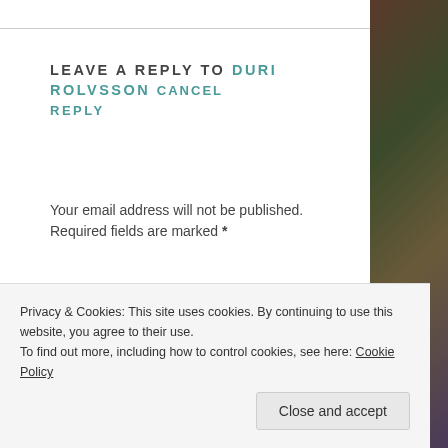LEAVE A REPLY TO DURI ROLVSSON CANCEL REPLY
Your email address will not be published. Required fields are marked *
Comment *
Privacy & Cookies: This site uses cookies. By continuing to use this website, you agree to their use.
To find out more, including how to control cookies, see here: Cookie Policy
Close and accept